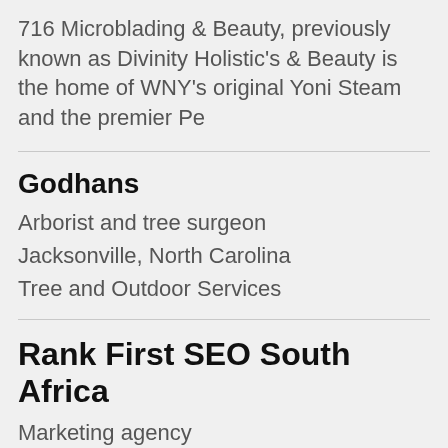716 Microblading & Beauty, previously known as Divinity Holistic's & Beauty is the home of WNY's original Yoni Steam and the premier Pe
Godhans
Arborist and tree surgeon
Jacksonville, North Carolina
Tree and Outdoor Services
Rank First SEO South Africa
Marketing agency
South Africa, South Africa
Top SEO Agency South Africa